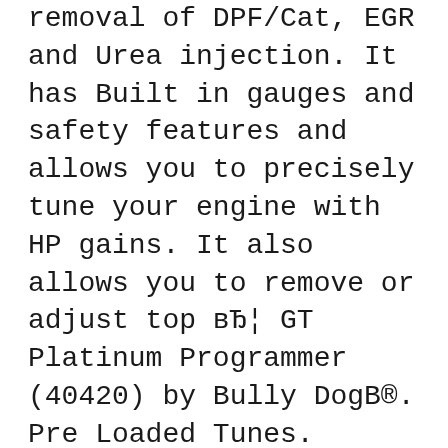removal of DPF/Cat, EGR and Urea injection. It has Built in gauges and safety features and allows you to precisely tune your engine with HP gains. It also allows you to remove or adjust top в… GT Platinum Programmer (40420) by Bully DogB®. Pre Loaded Tunes. Switch On The Fly. The GT Platinum is four products in one: a vehicle engine tuner, monitor, gauge and diagnostic device all in a single unit. The GT dramatically improves the utility of your vehicle by increasing horsepower, improving fuel economy and providing a comprehensive
For example, Bully Dog's Triple Dog GT offers users the same advantages as the